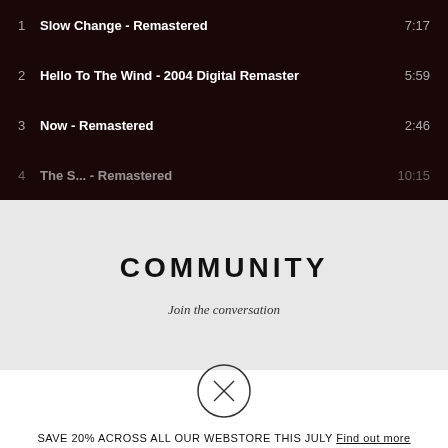1  Slow Change - Remastered  7:17
2  Hello To The Wind - 2004 Digital Remaster  5:59
3  Now - Remastered  2:46
4  The S... - Remastered  10:15
COMMUNITY
Join the conversation
[Figure (illustration): Circle with X close/dismiss icon]
SAVE 20% ACROSS ALL OUR WEBSTORE THIS JULY Find out more
SHOP HERE